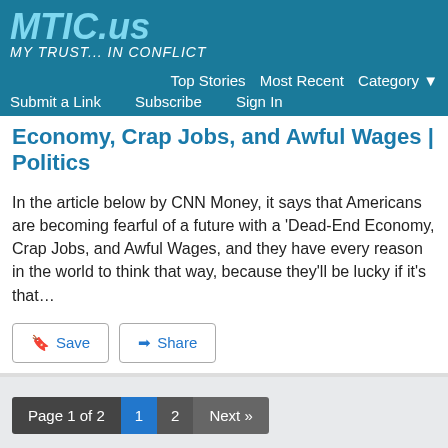MTIC.us My Trust... In Conflict — Top Stories  Most Recent  Category
Economy, Crap Jobs, and Awful Wages | Politics
In the article below by CNN Money, it says that Americans are becoming fearful of a future with a 'Dead-End Economy, Crap Jobs, and Awful Wages, and they have every reason in the world to think that way, because they'll be lucky if it's that…
Page 1 of 2  1  2  Next »